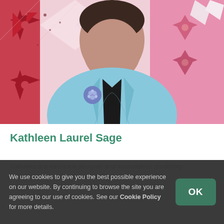[Figure (photo): A woman wearing a light blue blazer with a blue floral brooch and a black necklace, photographed against a colorful quilted background with red floral patterns.]
Kathleen Laurel Sage
Kathleen is a freelance designer and embroiderer producing
We use cookies to give you the best possible experience on our website. By continuing to browse the site you are agreeing to our use of cookies. See our Cookie Policy for more details.